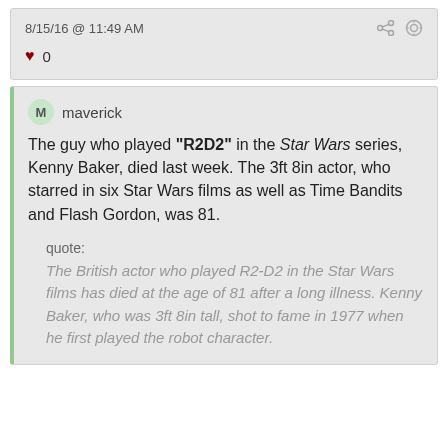8/15/16 @ 11:49 AM
♥ 0
M maverick
The guy who played "R2D2" in the Star Wars series, Kenny Baker, died last week. The 3ft 8in actor, who starred in six Star Wars films as well as Time Bandits and Flash Gordon, was 81.
quote:
The British actor who played R2-D2 in the Star Wars films has died at the age of 81 after a long illness. Kenny Baker, who was 3ft 8in tall, shot to fame in 1977 when he first played the robot character.